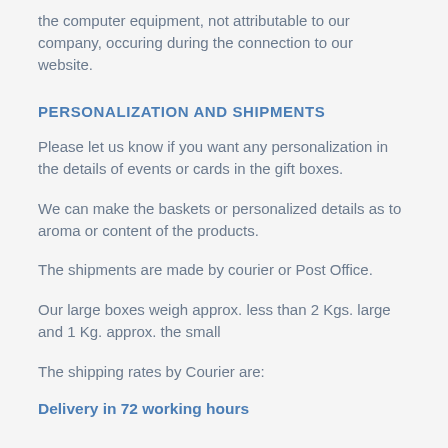the computer equipment, not attributable to our company, occuring during the connection to our website.
PERSONALIZATION AND SHIPMENTS
Please let us know if you want any personalization in the details of events or cards in the gift boxes.
We can make the baskets or personalized details as to aroma or content of the products.
The shipments are made by courier or Post Office.
Our large boxes weigh approx. less than 2 Kgs. large and 1 Kg. approx. the small
The shipping rates by Courier are:
Delivery in 72 working hours